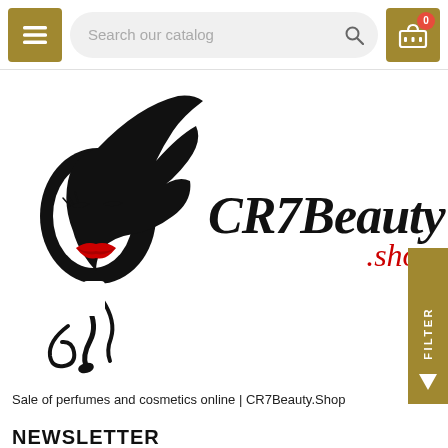[Figure (screenshot): Top navigation bar with hamburger menu button (gold), search bar with placeholder 'Search our catalog', and shopping cart icon (gold) with badge showing 0]
[Figure (logo): CR7Beauty.shop logo: stylized woman face silhouette with flowing black hair and red lips on left, script text 'CR7Beauty' in black with '.shop' in red on right]
Sale of perfumes and cosmetics online | CR7Beauty.Shop
NEWSLETTER
[Figure (screenshot): Email subscription form with 'Your email address' placeholder text input and gold OK button with envelope icon]
You may unsubscribe at any moment. For that purpose, please find our contact info in the legal notice.